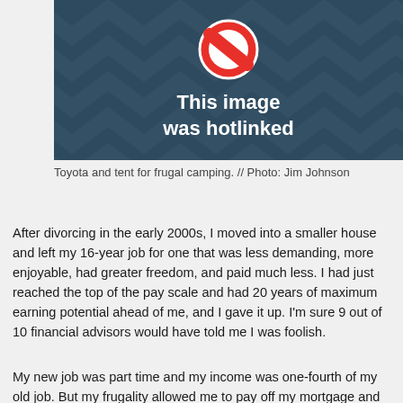[Figure (photo): Hotlinked image placeholder with dark blue/teal chevron pattern background, red no-entry sign icon at top, and white text reading 'This image was hotlinked']
Toyota and tent for frugal camping. // Photo: Jim Johnson
After divorcing in the early 2000s, I moved into a smaller house and left my 16-year job for one that was less demanding, more enjoyable, had greater freedom, and paid much less. I had just reached the top of the pay scale and had 20 years of maximum earning potential ahead of me, and I gave it up. I'm sure 9 out of 10 financial advisors would have told me I was foolish.
My new job was part time and my income was one-fourth of my old job. But my frugality allowed me to pay off my mortgage and